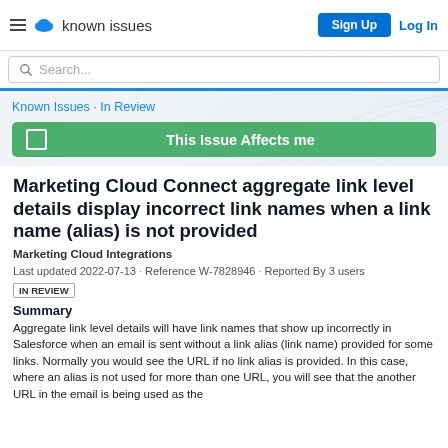known issues | Sign Up | Log In
Search...
Known Issues · In Review
This Issue Affects me
Marketing Cloud Connect aggregate link level details display incorrect link names when a link name (alias) is not provided
Marketing Cloud Integrations
Last updated 2022-07-13 · Reference W-7828946 · Reported By 3 users
IN REVIEW
Summary
Aggregate link level details will have link names that show up incorrectly in Salesforce when an email is sent without a link alias (link name) provided for some links. Normally you would see the URL if no link alias is provided. In this case, where an alias is not used for more than one URL, you will see that the another URL in the email is being used as the